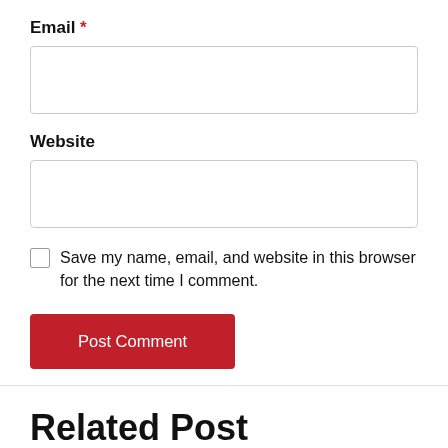Email *
Website
Save my name, email, and website in this browser for the next time I comment.
Post Comment
Related Post